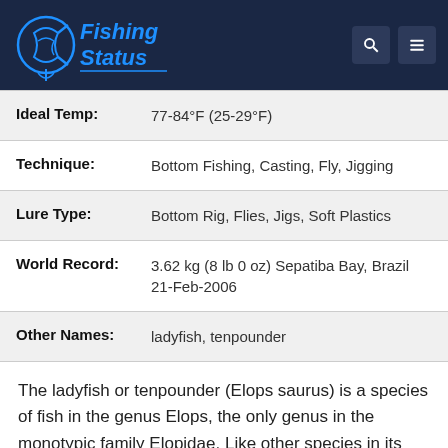[Figure (logo): Fishing Status logo with fish icon and text in blue on dark navy background, with search and menu icons top right]
| Ideal Temp: | 77-84°F (25-29°F) |
| Technique: | Bottom Fishing, Casting, Fly, Jigging |
| Lure Type: | Bottom Rig, Flies, Jigs, Soft Plastics |
| World Record: | 3.62 kg (8 lb 0 oz) Sepatiba Bay, Brazil 21-Feb-2006 |
| Other Names: | ladyfish, tenpounder |
The ladyfish or tenpounder (Elops saurus) is a species of fish in the genus Elops, the only genus in the monotypic family Elopidae. Like other species in its genus, the ladyfish has a long, slender, rounded body covered with silvery scales. Its mouth is terminal and the tail is deeply forked. The species can be